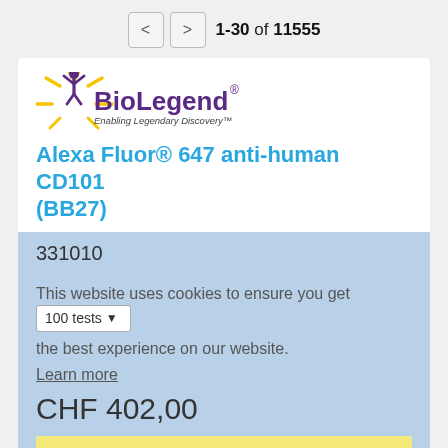1-30 of 11555
[Figure (logo): BioLegend logo with purple figure and yellow sunburst, text 'BioLegend®' in purple and 'Enabling Legendary Discovery™' tagline]
Alexa Fluor® 647 anti-human CD101 (BB27)
331010
This website uses cookies to ensure you get the best experience on our website.
100 tests
Learn more
CHF 402,00
Got it!
Add to cart